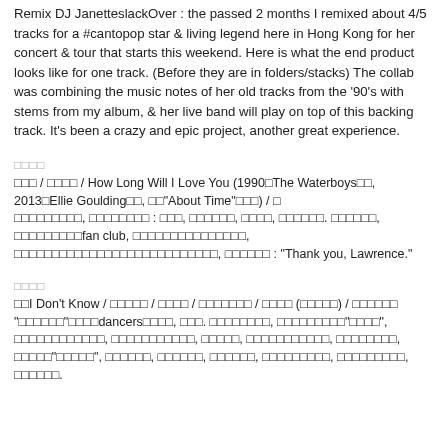Remix DJ JanetteslackOver : the passed 2 months I remixed about 4/5 tracks for a #cantopop star & living legend here in Hong Kong for her concert & tour that starts this weekend. Here is what the end product looks like for one track. (Before they are in folders/stacks) The collab was combining the music notes of her old tracks from the '90's with stems from my album, & her live band will play on top of this backing track. It's been a crazy and epic project, another great experience.
□□□□
□□□ / □□□□ / How Long Will I Love You (1990□The Waterboys□□, 2013□Ellie Goulding□□, □□"About Time"□□□) / □
□□□□□□□□□, □□□□□□□□ : □□□, □□□□□□, □□□□, □□□□□□. □□□□□□, □□□□□□□□□fan club, □□□□□□□□□□□□□□□, □□□□□□□□□□□□□□□□□□□□□□□□□□□, □□□□□□ : "Thank you, Lawrence."
□□□□
□□I Don't Know / □□□□□ / □□□□ / □□□□□□□ / □□□□ (□□□□□) / □□□□□□
"□□□□□□"□□□□dancers□□□□, □□□. □□□□□□□□, □□□□□□□□□"□□□□", □□□□□□□□□□□□, □□□□
□□□□□□□□, □□□□□, □□□□□□□□□□□, □□□□□□□□, □□□□□"□□□□□", □□□□□□, □□□
□□□, □□□□□□, □□□□□□□□□, □□□□□□□□□, □□□□□□.